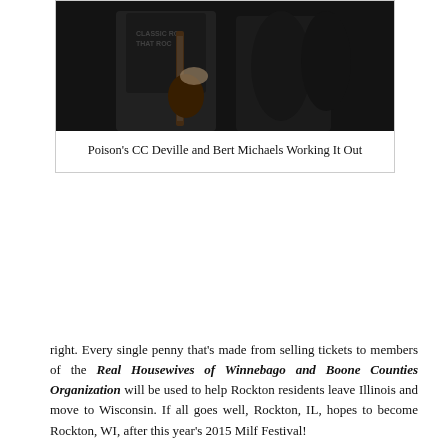[Figure (photo): Photo of two musicians, one playing guitar, in dark clothing, appearing to be from a rock band.]
Poison's CC Deville and Bert Michaels Working It Out
right. Every single penny that's made from selling tickets to members of the Real Housewives of Winnebago and Boone Counties Organization will be used to help Rockton residents leave Illinois and move to Wisconsin. If all goes well, Rockton, IL, hopes to become Rockton, WI, after this year's 2015 Milf Festival!
Yummie Dog is a fast food chain out of Albuquerque, NM, that specializes in taking fried hot dogs made from chicken legs that somehow tastes like roasted beef mixed in a bread bowl with soup, salad and potatoes.
Transform Rockford, Rock River Times, WREX-TV13's Local Positive Noose and Rockford Register Star have praised Yummie Dog's food by calling it "a modern breakthrough in fast food technology that can help spread the Word of Rockford's vision to help our city's real, original and excellent strategerie professionals tell the sort of stories that encourages positivity and stuff, but also helps our decades of economic doom caused by an abundance of emotional job-lapsed